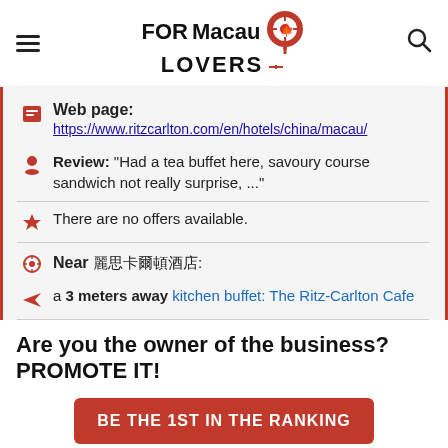FORMacau LOVERS
Web page: https://www.ritzcarlton.com/en/hotels/china/macau/
Review: "Had a tea buffet here, savoury course sandwich not really surprise, ..."
There are no offers available.
Near 麗思卡爾頓酒店:
a 3 meters away kitchen buffet: The Ritz-Carlton Cafe
Are you the owner of the business? PROMOTE IT!
BE THE 1ST IN THE RANKING
EXCLUSIVE PAGE